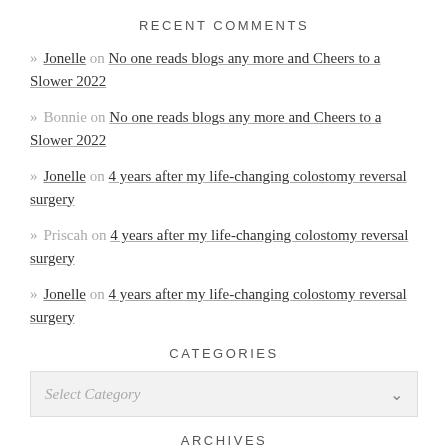RECENT COMMENTS
» Jonelle on No one reads blogs any more and Cheers to a Slower 2022
» Bonnie on No one reads blogs any more and Cheers to a Slower 2022
» Jonelle on 4 years after my life-changing colostomy reversal surgery
» Priscah on 4 years after my life-changing colostomy reversal surgery
» Jonelle on 4 years after my life-changing colostomy reversal surgery
CATEGORIES
Select Category
ARCHIVES